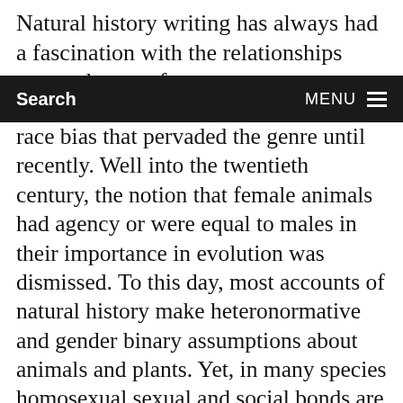Natural history writing has always had a fascination with the relationships among layers of
Search    MENU
race bias that pervaded the genre until recently. Well into the twentieth century, the notion that female animals had agency or were equal to males in their importance in evolution was dismissed. To this day, most accounts of natural history make heteronormative and gender binary assumptions about animals and plants. Yet, in many species homosexual sexual and social bonds are commonplace. Many individual organisms have both male and female sexual organs. In some species, multiple versions of “sex” exist, and so males and females can exist in multiple forms.

Almost all early natural history writers in the English tradition were white supremacist in some